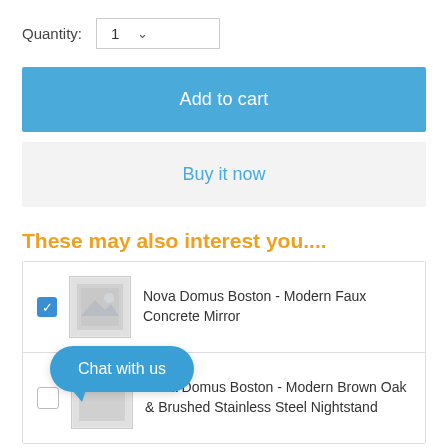Quantity: 1
Add to cart
Buy it now
These may also interest you....
Nova Domus Boston - Modern Faux Concrete Mirror
Nova Domus Boston - Modern Brown Oak & Brushed Stainless Steel Nightstand
Chat with us